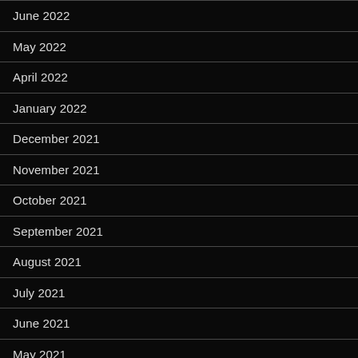June 2022
May 2022
April 2022
January 2022
December 2021
November 2021
October 2021
September 2021
August 2021
July 2021
June 2021
May 2021